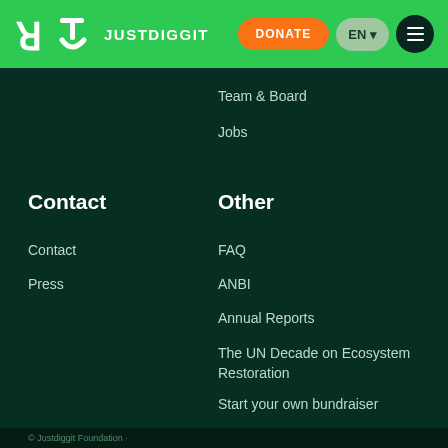JUSTDIGGIT
Team & Board
Jobs
Contact
Other
Contact
Press
FAQ
ANBI
Annual Reports
The UN Decade on Ecosystem Restoration
Start your own bundraiser